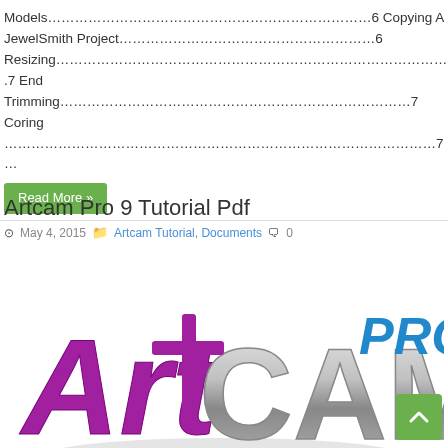Models………………………………………………………………6 Copying A JewelSmith Project…………………………………………………6 Resizing……………………………………………………………………………… .7 End Trimming……………………………………………………………………7 Coring ……………………………………………………………………………………7 ...
Read More »
Artcam Pro 9 Tutorial Pdf
May 4, 2015   Artcam Tutorial, Documents   0
[Figure (logo): ArtCAM Pro logo with purple stylized 'Art' text and silver metallic 'CAM' text with blue 'PRO' text in upper right corner]